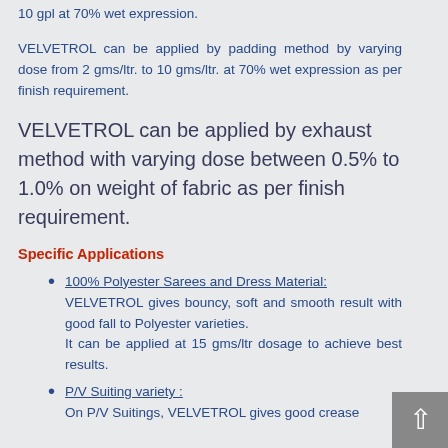10 gpl at 70% wet expression.
VELVETROL can be applied by padding method by varying dose from 2 gms/ltr. to 10 gms/ltr. at 70% wet expression as per finish requirement.
VELVETROL can be applied by exhaust method with varying dose between 0.5% to 1.0% on weight of fabric as per finish requirement.
Specific Applications
100% Polyester Sarees and Dress Material: VELVETROL gives bouncy, soft and smooth result with good fall to Polyester varieties. It can be applied at 15 gms/ltr dosage to achieve best results.
P/V Suiting variety : On P/V Suitings, VELVETROL gives good crease